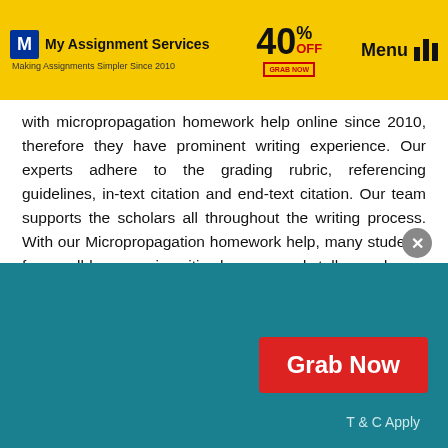My Assignment Services — 40% OFF — Menu
with micropropagation homework help online since 2010, therefore they have prominent writing experience. Our experts adhere to the grading rubric, referencing guidelines, in-text citation and end-text citation. Our team supports the scholars all throughout the writing process. With our Micropropagation homework help, many students from well-known universities have earned stellar grades.
The Range Of The Domain Micropropagation Covered By Our Experts